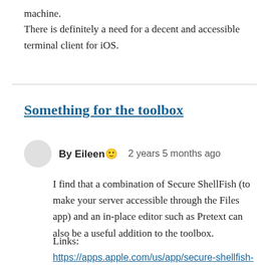machine.
There is definitely a need for a decent and accessible terminal client for iOS.
Something for the toolbox
By Eileen 2 years 5 months ago
I find that a combination of Secure ShellFish (to make your server accessible through the Files app) and an in-place editor such as Pretext can also be a useful addition to the toolbox.
Links:
https://apps.apple.com/us/app/secure-shellfish-sftp-client/id1336634154